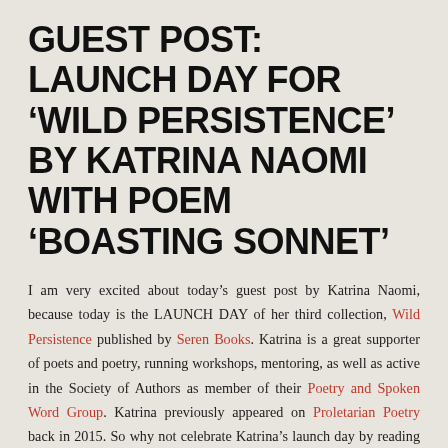GUEST POST: LAUNCH DAY FOR ‘WILD PERSISTENCE’ BY KATRINA NAOMI WITH POEM ‘BOASTING SONNET’
I am very excited about today’s guest post by Katrina Naomi, because today is the LAUNCH DAY of her third collection, Wild Persistence published by Seren Books. Katrina is a great supporter of poets and poetry, running workshops, mentoring, as well as active in the Society of Authors as member of their Poetry and Spoken Word Group. Katrina previously appeared on Proletarian Poetry back in 2015. So why not celebrate Katrina’s launch day by reading her guest feature, and if you can, buying Wild Persistence here. She is also doing a virtual launch on June 11th, details here.